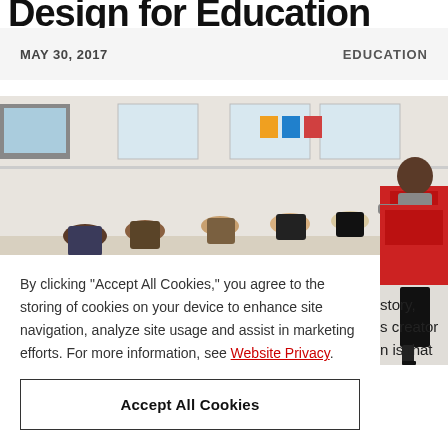Design for Education
MAY 30, 2017   EDUCATION
[Figure (photo): Classroom scene with students seated at desks and a female teacher standing at the front near a red cabinet. Large windows in background.]
By clicking "Accept All Cookies," you agree to the storing of cookies on your device to enhance site navigation, analyze site usage and assist in marketing efforts. For more information, see Website Privacy.
Accept All Cookies
story,
s creator
n is that